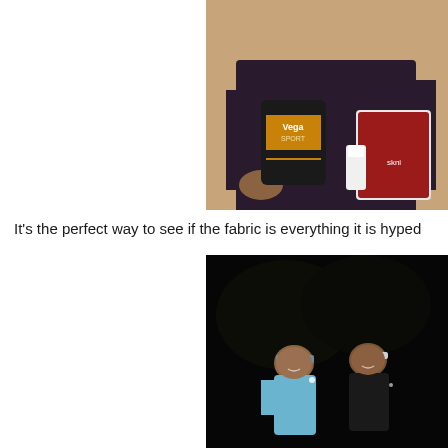[Figure (photo): Person in dark t-shirt holding a Vega Sport protein powder container and other supplement products against a tan/beige wall]
It's the perfect way to see if the fabric is everything it is hyped
[Figure (photo): Two women standing together outdoors at night, one wearing a light blue top and the other wearing a dark shirt with a logo, both wearing headbands/visors]